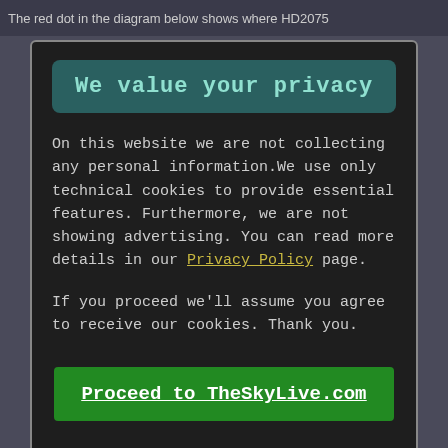The red dot in the diagram below shows where HD2075...
We value your privacy
On this website we are not collecting any personal information.We use only technical cookies to provide essential features. Furthermore, we are not showing advertising. You can read more details in our Privacy Policy page.
If you proceed we'll assume you agree to receive our cookies. Thank you.
Proceed to TheSkyLive.com
[Figure (continuous-plot): Partial view of a chart with axes, showing a downward sloping line/curve in magenta/pink against a dark background. Y-axis shows values 0.001 and 0.200. X-axis label shows 15. Scattered light dots visible.]